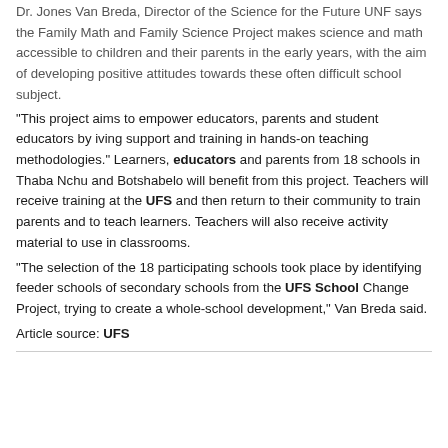Dr. Jones Van Breda, Director of the Science for the Future UNF says the Family Math and Family Science Project makes science and math accessible to children and their parents in the early years, with the aim of developing positive attitudes towards these often difficult school subject.
“This project aims to empower educators, parents and student educators by iving support and training in hands-on teaching methodologies.” Learners, educators and parents from 18 schools in Thaba Nchu and Botshabelo will benefit from this project. Teachers will receive training at the UFS and then return to their community to train parents and to teach learners. Teachers will also receive activity material to use in classrooms.
“The selection of the 18 participating schools took place by identifying feeder schools of secondary schools from the UFS School Change Project, trying to create a whole-school development,” Van Breda said.
Article source: UFS